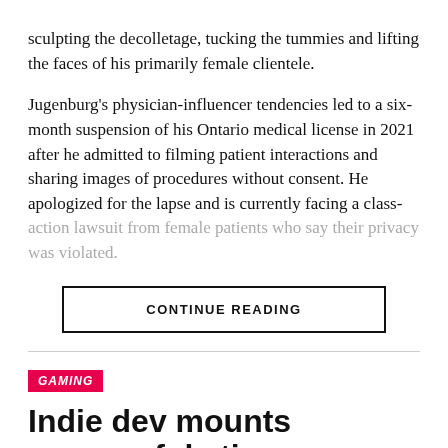sculpting the decolletage, tucking the tummies and lifting the faces of his primarily female clientele.
Jugenburg's physician-influencer tendencies led to a six-month suspension of his Ontario medical license in 2021 after he admitted to filming patient interactions and sharing images of procedures without consent. He apologized for the lapse and is currently facing a class-action lawsuit from female patients who say their privacy was violated.
CONTINUE READING
GAMING
Indie dev mounts successful sting operation against scammy Steam